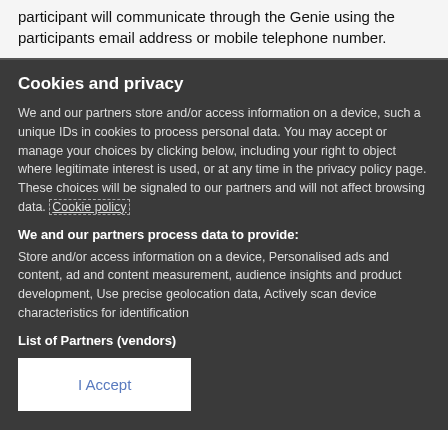participant will communicate through the Genie using the participants email address or mobile telephone number.
Cookies and privacy
We and our partners store and/or access information on a device, such a unique IDs in cookies to process personal data. You may accept or manage your choices by clicking below, including your right to object where legitimate interest is used, or at any time in the privacy policy page. These choices will be signaled to our partners and will not affect browsing data. Cookie policy
We and our partners process data to provide:
Store and/or access information on a device, Personalised ads and content, ad and content measurement, audience insights and product development, Use precise geolocation data, Actively scan device characteristics for identification
List of Partners (vendors)